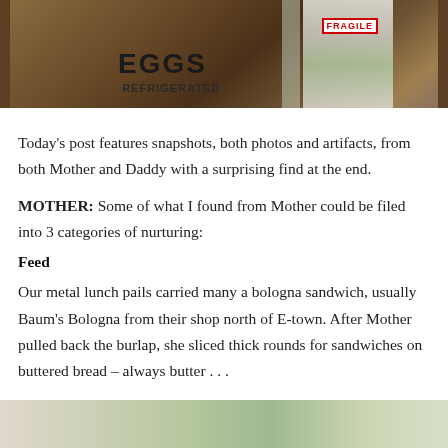[Figure (photo): Photo of cardboard boxes labeled EGGS and REFRIGERATED, with a FRAGILE label visible on another box in the background.]
Today’s post features snapshots, both photos and artifacts, from both Mother and Daddy with a surprising find at the end.
MOTHER: Some of what I found from Mother could be filed into 3 categories of nurturing:
Feed
Our metal lunch pails carried many a bologna sandwich, usually Baum’s Bologna from their shop north of E-town. After Mother pulled back the burlap, she sliced thick rounds for sandwiches on buttered bread – always butter . . .
[Figure (photo): Partial photo visible at the bottom of the page.]